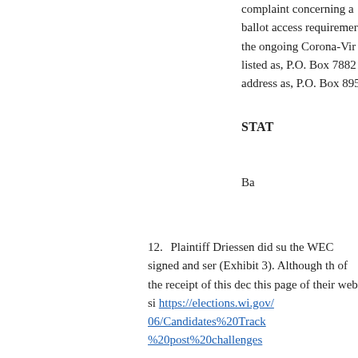complaint concerning a ballot access requirements the ongoing Corona-Vir listed as, P.O. Box 7882 address as, P.O. Box 895
STAT
Ba
12. Plaintiff Driessen did su the WEC signed and ser (Exhibit 3). Although th of the receipt of this dec this page of their web si https://elections.wi.gov/ 06/Candidates%20Track %20post%20challenges